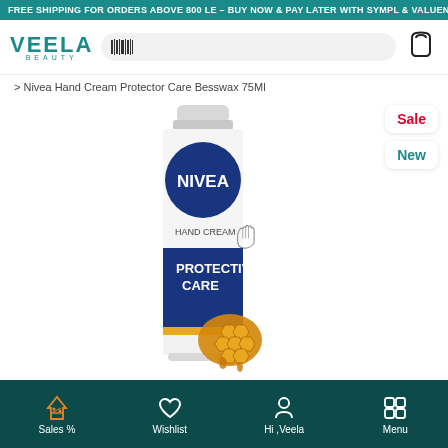FREE SHIPPING FOR ORDERS ABOVE 800 LE – BUY NOW & PAY LATER WITH SYMPL & VALU
[Figure (logo): Veela Beauty logo with teal text and barcode search icon, plus shopping bag cart icon]
> Nivea Hand Cream Protector Care Besswax 75Ml
Sale
New
[Figure (photo): Nivea Protective Care Hand Cream 75ml tube with blue circle NIVEA logo, HAND CREAM text with hand illustration, PROTECTIVE CARE label on blue bottom section, and honeycomb with honey imagery]
Sales %  Wishlist  Hi ,Veela  Menu